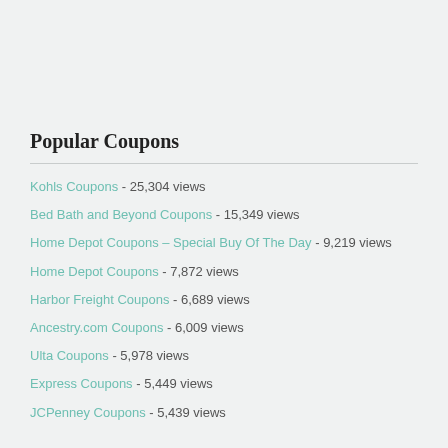Popular Coupons
Kohls Coupons - 25,304 views
Bed Bath and Beyond Coupons - 15,349 views
Home Depot Coupons – Special Buy Of The Day - 9,219 views
Home Depot Coupons - 7,872 views
Harbor Freight Coupons - 6,689 views
Ancestry.com Coupons - 6,009 views
Ulta Coupons - 5,978 views
Express Coupons - 5,449 views
JCPenney Coupons - 5,439 views